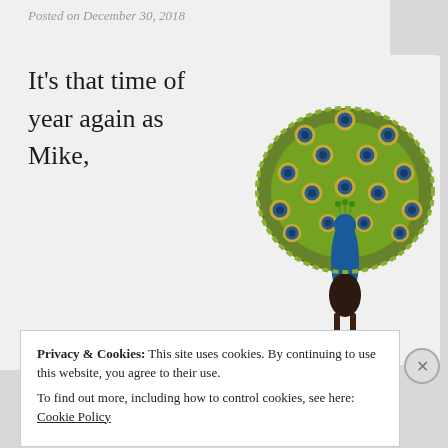Posted on December 30, 2018
It’s that time of year again as Mike,
[Figure (photo): A colorful peacock toy/figurine with its tail fanned out in full display, showing green and yellow feathers with blue eye spots, blue neck and body, standing on black legs]
Privacy & Cookies: This site uses cookies. By continuing to use this website, you agree to their use.
To find out more, including how to control cookies, see here: Cookie Policy
Close and accept